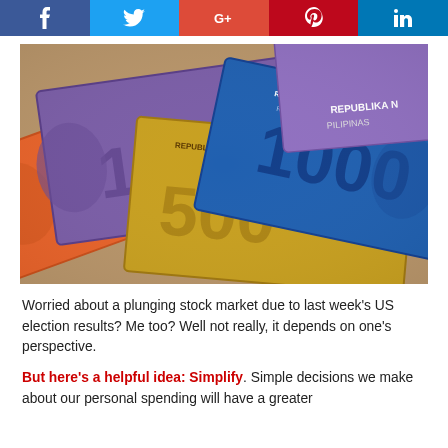[Figure (other): Social media share buttons: Facebook (blue), Twitter (cyan), Google+ (red), Pinterest (dark red), LinkedIn (blue)]
[Figure (photo): Philippine peso banknotes (500, 1000, 50 peso bills) fanned out, showing portraits, REPUBLIKA NG PILIPINAS text]
Worried about a plunging stock market due to last week's US election results? Me too? Well not really, it depends on one's perspective.
But here's a helpful idea: Simplify. Simple decisions we make about our personal spending will have a greater